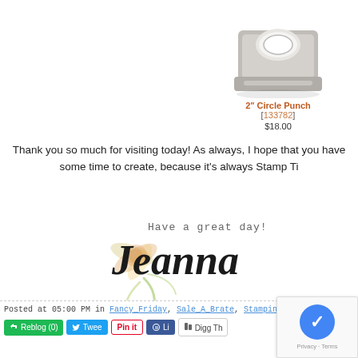[Figure (photo): 2 inch Circle Punch product image - a metal crafting punch tool with circular die]
2" Circle Punch
[133782]
$18.00
Thank you so much for visiting today! As always, I hope that you have some time to create, because it's always Stamp Ti
[Figure (illustration): Signature graphic showing 'Have a great day!' in monospace font and 'Jeanna' in large italic script with watercolor flower decoration]
Posted at 05:00 PM in Fancy_Friday, Sale A Brate, Stampin'Up | Reblog (0) | Tweet | Pin it | Li | Digg Th